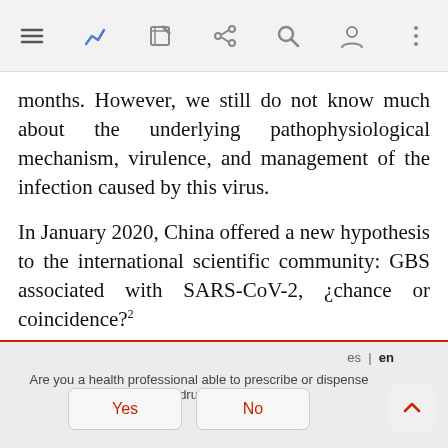App toolbar with navigation icons
months. However, we still do not know much about the underlying pathophysiological mechanism, virulence, and management of the infection caused by this virus.
In January 2020, China offered a new hypothesis to the international scientific community: GBS associated with SARS-CoV-2, ¿chance or coincidence?²
Six months have gone by since then. In a total of 14
Are you a health professional able to prescribe or dispense drugs?
Yes   No